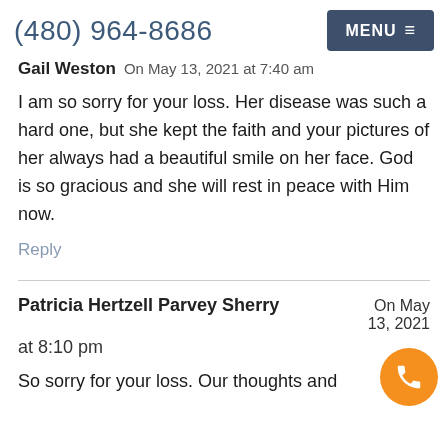(480) 964-8686  MENU
Gail Weston  On May 13, 2021 at 7:40 am
I am so sorry for your loss. Her disease was such a hard one, but she kept the faith and your pictures of her always had a beautiful smile on her face. God is so gracious and she will rest in peace with Him now.
Reply
Patricia Hertzell Parvey Sherry  On May 13, 2021 at 8:10 pm
So sorry for your loss. Our thoughts and